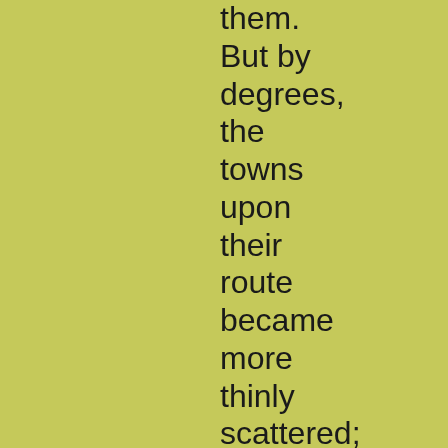them. But by degrees, the towns upon their route became more thinly scattered; and for many hours together they would